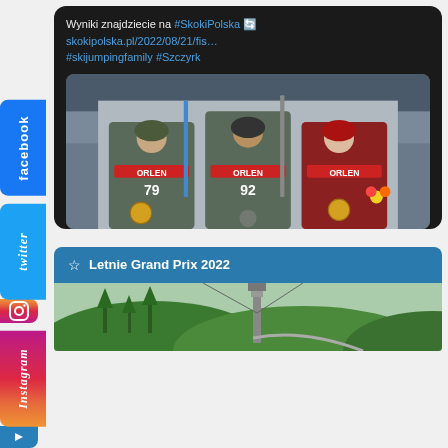[Figure (screenshot): Tweet card with text: Wyniki znajdziecie na #SkokiPolska skokipolska.pl/2022/08/21/fis... #skijumpingfamily #Szczyrk, and a podium photo of three ski jumping athletes]
[Figure (photo): Three ski jumping athletes on podium holding medals and trophies, wearing ORLEN branded gear, outdoors]
Letnie Grand Prix 2022
[Figure (photo): Outdoor ski jump venue with green hillside and ski jump ramp visible]